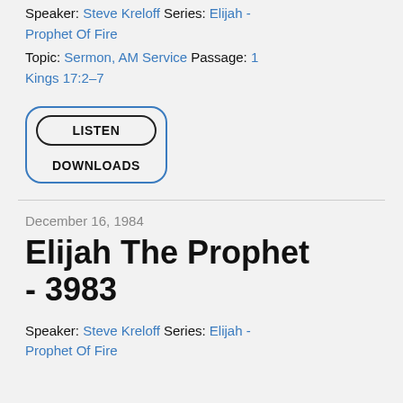Speaker: Steve Kreloff Series: Elijah - Prophet Of Fire
Topic: Sermon, AM Service Passage: 1 Kings 17:2–7
[Figure (other): A rounded rectangle button group with a blue border containing a LISTEN button (oval, dark border) and a DOWNLOADS text below it]
December 16, 1984
Elijah The Prophet - 3983
Speaker: Steve Kreloff Series: Elijah - Prophet Of Fire